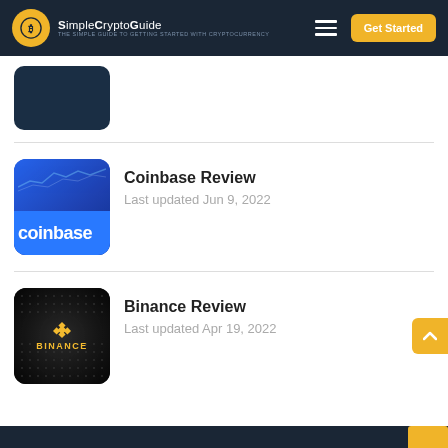SimpleCryptoGuide — Get Started
[Figure (photo): Partial thumbnail of a cryptocurrency-related image with dark blue background]
Coinbase Review
Last updated Jun 9, 2022
[Figure (photo): Coinbase logo on blue background]
Binance Review
Last updated Apr 19, 2022
[Figure (photo): Binance logo on black background with dot matrix pattern]